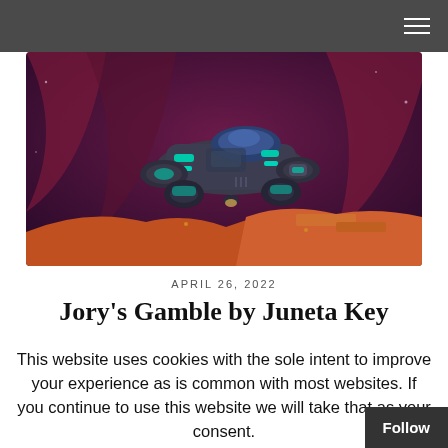≡
[Figure (illustration): A sci-fi rover/spaceship vehicle with teal glowing accents, hovering over a rocky purple/maroon alien landscape with orange terrain elements.]
APRIL 26, 2022
Jory's Gamble by Juneta Key
This website uses cookies with the sole intent to improve your experience as is common with most websites. If you continue to use this website we will take that as your consent.
OK   Reject   Read More   Follow